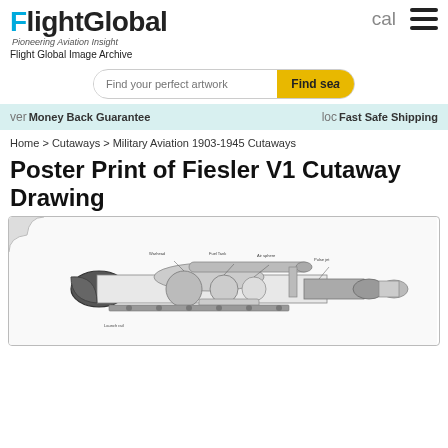FlightGlobal - Pioneering Aviation Insight | Flight Global Image Archive
[Figure (screenshot): FlightGlobal website screenshot showing logo, search bar, features bar, breadcrumb navigation, page title, and a cutaway drawing preview of a Fiesler V1]
Find your perfect artwork
Money Back Guarantee | Fast Safe Shipping
Home > Cutaways > Military Aviation 1903-1945 Cutaways
Poster Print of Fiesler V1 Cutaway Drawing
[Figure (engineering-diagram): Cutaway drawing of Fiesler V1 flying bomb showing internal components and structure with labels]